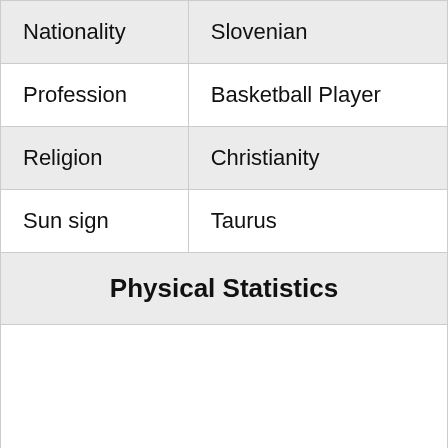| Nationality | Slovenian |
| Profession | Basketball Player |
| Religion | Christianity |
| Sun sign | Taurus |
| Physical Statistics |  |
|  |  |